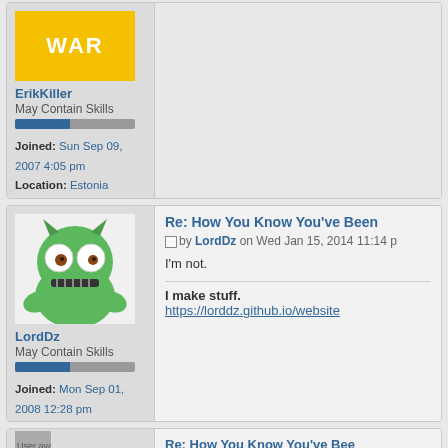[Figure (illustration): War banner (yellow background with WAR text) above user profile for ErikKiller]
ErikKiller
May Contain Skills
Joined: Sun Sep 09, 2007 4:05 pm
Location: Estonia
[Figure (illustration): Green monster cartoon avatar for LordDz]
LordDz
May Contain Skills
Joined: Mon Sep 01, 2008 12:28 pm
Location: Hammer Crash Logs
Re: How You Know You've Been...
by LordDz on Wed Jan 15, 2014 11:14 p
I'm not.
I make stuff.
https://lorddz.github.io/website
Re: How You Know You've Bee...